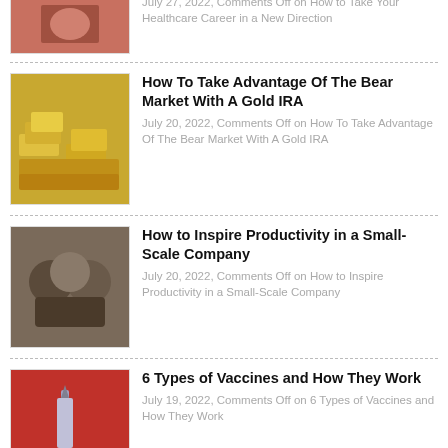July 27, 2022, Comments Off on How to Take Your Healthcare Career in a New Direction
How To Take Advantage Of The Bear Market With A Gold IRA
July 20, 2022, Comments Off on How To Take Advantage Of The Bear Market With A Gold IRA
How to Inspire Productivity in a Small-Scale Company
July 20, 2022, Comments Off on How to Inspire Productivity in a Small-Scale Company
6 Types of Vaccines and How They Work
July 19, 2022, Comments Off on 6 Types of Vaccines and How They Work
5 Top Reasons To Train As A Police Officer in 2022
July 19, 2022, Comments Off on 5 Top Reasons To Train As A Police Officer in 2022
Are Autonomous Freight Trucks the Answer?
July 13, 2022, Comments Off on Are